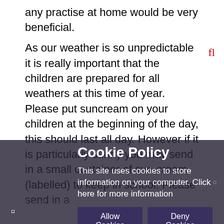any practise at home would be very beneficial.
As our weather is so unpredictable it is really important that the children are prepared for all weathers at this time of year. Please put suncream on your children at the beginning of the day, this should last all day. However if it is particularly sunny you may send in a small container of suncream (labelled) to keep in school. Please send in a sunhat labelled with a name. All children need to bring a... them to school every day and... during the day and...
Next week... children will be... harpers... please... Slipsi...
Cookie Policy
This site uses cookies to store information on your computer. Click here for more information
Allow Cookies | Deny Cookies